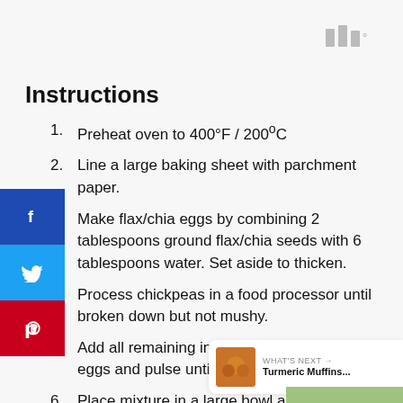[Figure (logo): Three vertical bar logo icon in gray, top right corner]
Instructions
Preheat oven to 400°F / 200ºC
Line a large baking sheet with parchment paper.
Make flax/chia eggs by combining 2 tablespoons ground flax/chia seeds with 6 tablespoons water. Set aside to thicken.
Process chickpeas in a food processor until broken down but not mushy.
Add all remaining ingredients along with fla. eggs and pulse until combined.
Place mixture in a large bowl and add no... Mix well.